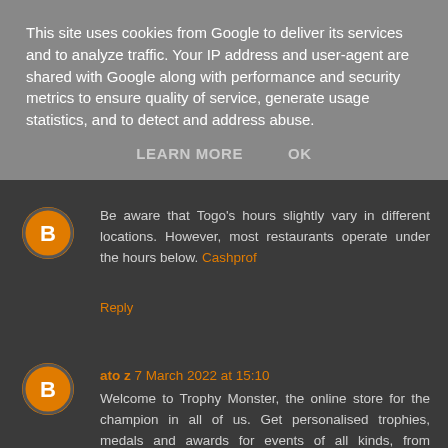This site uses cookies from Google to deliver its services and to analyze traffic. Your IP address and user-agent are shared with Google along with performance and security metrics to ensure quality of service, generate usage statistics, and to detect and address abuse.
LEARN MORE   OK
Be aware that Togo's hours slightly vary in different locations. However, most restaurants operate under the hours below. Cashprof
Reply
ato z 7 March 2022 at 15:10
Welcome to Trophy Monster, the online store for the champion in all of us. Get personalised trophies, medals and awards for events of all kinds, from grassroots ... trophy
Reply